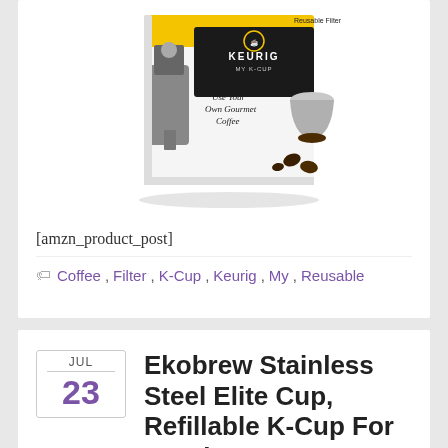[Figure (photo): Keurig My K-Cup reusable coffee filter product box showing the filter cup, K-Cup brewer, and coffee grounds. Box has yellow and black branding with text 'Use Your Own Gourmet Coffee'.]
[amzn_product_post]
Coffee, Filter, K-Cup, Keurig, My, Reusable
Ekobrew Stainless Steel Elite Cup, Refillable K-Cup For Keurig K-Cup Brewers
By jlbiceman in K-Cups